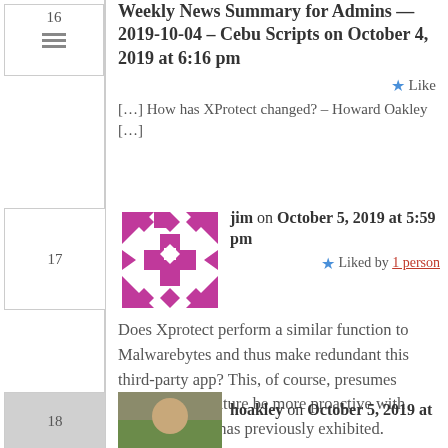Weekly News Summary for Admins — 2019-10-04 – Cebu Scripts on October 4, 2019 at 6:16 pm
Like
[…] How has XProtect changed? – Howard Oakley […]
jim on October 5, 2019 at 5:59 pm
Liked by 1 person
Does Xprotect perform a similar function to Malwarebytes and thus make redundant this third-party app? This, of course, presumes Apple will in future be more proactive with updates than it has previously exhibited.
hoakley on October 5, 2019 at